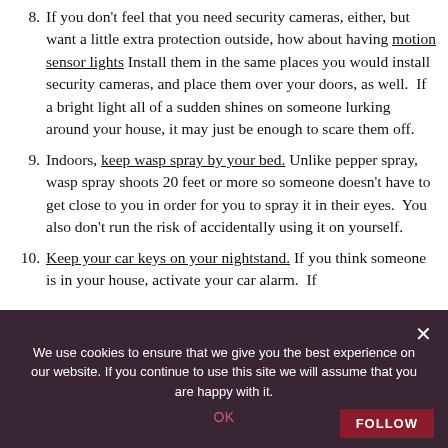8. If you don't feel that you need security cameras, either, but want a little extra protection outside, how about having motion sensor lights Install them in the same places you would install security cameras, and place them over your doors, as well.  If a bright light all of a sudden shines on someone lurking around your house, it may just be enough to scare them off.
9. Indoors, keep wasp spray by your bed. Unlike pepper spray, wasp spray shoots 20 feet or more so someone doesn't have to get close to you in order for you to spray it in their eyes.  You also don't run the risk of accidentally using it on yourself.
10. Keep your car keys on your nightstand. If you think someone is in your house, activate your car alarm.  If
We use cookies to ensure that we give you the best experience on our website. If you continue to use this site we will assume that you are happy with it.
OK
FOLLOW